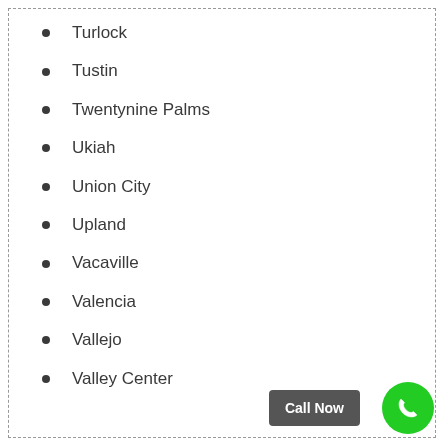Turlock
Tustin
Twentynine Palms
Ukiah
Union City
Upland
Vacaville
Valencia
Vallejo
Valley Center